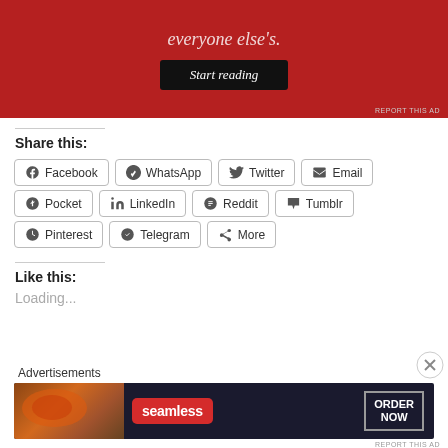[Figure (screenshot): Red advertisement banner with italic white text 'everyone else's.' and a dark 'Start reading' button]
Share this:
Facebook
WhatsApp
Twitter
Email
Pocket
LinkedIn
Reddit
Tumblr
Pinterest
Telegram
More
Like this:
Loading...
[Figure (screenshot): Seamless food delivery advertisement banner with pizza image, Seamless logo, and ORDER NOW button]